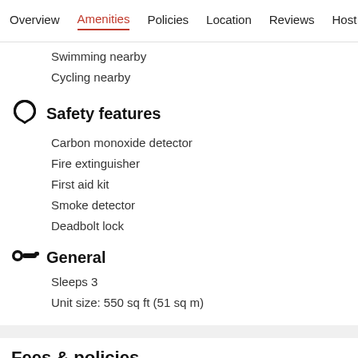Overview  Amenities  Policies  Location  Reviews  Host
Swimming nearby
Cycling nearby
Safety features
Carbon monoxide detector
Fire extinguisher
First aid kit
Smoke detector
Deadbolt lock
General
Sleeps 3
Unit size: 550 sq ft (51 sq m)
Fees & policies